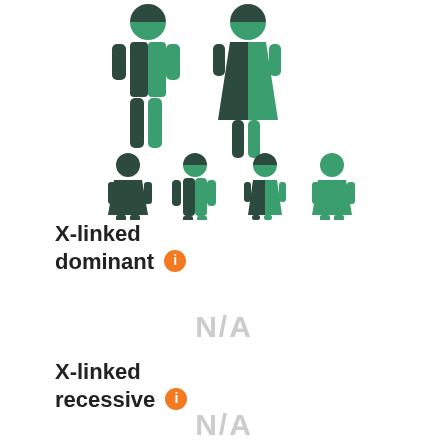[Figure (infographic): Two rows of human figure icons showing inheritance pattern. Top row: split dark/green adult male and split dark/green adult female. Bottom row left: dark girl, split boy. Bottom row right: split girl, green girl, green boy (children).]
X-linked dominant ℹ
N/A
X-linked recessive ℹ
N/A